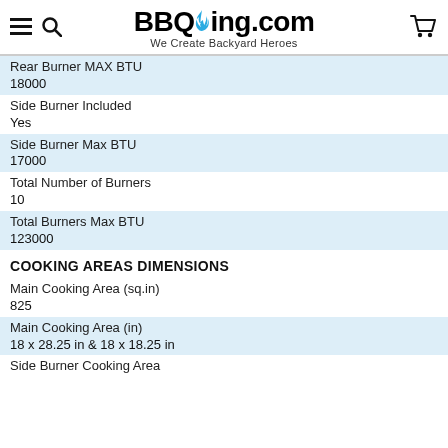BBQing.com — We Create Backyard Heroes
| Rear Burner MAX BTU | 18000 |
| Side Burner Included | Yes |
| Side Burner Max BTU | 17000 |
| Total Number of Burners | 10 |
| Total Burners Max BTU | 123000 |
COOKING AREAS DIMENSIONS
| Main Cooking Area (sq.in) | 825 |
| Main Cooking Area (in) | 18 x 28.25 in & 18 x 18.25 in |